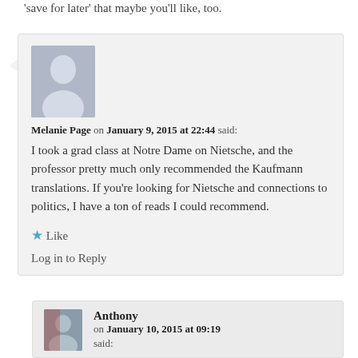'save for later' that maybe you'll like, too.
Melanie Page on January 9, 2015 at 22:44 said: I took a grad class at Notre Dame on Nietsche, and the professor pretty much only recommended the Kaufmann translations. If you're looking for Nietsche and connections to politics, I have a ton of reads I could recommend.
★ Like
Log in to Reply
Anthony on January 10, 2015 at 09:19 said: